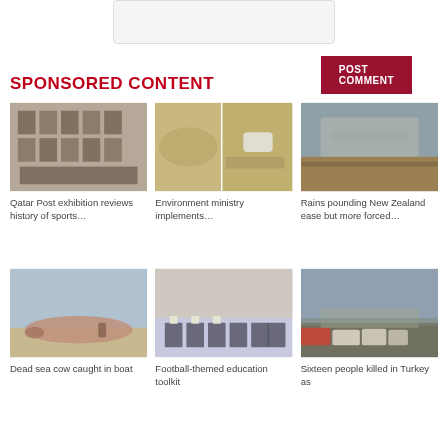[Figure (other): Text input area (textarea box) for comment]
POST COMMENT
SPONSORED CONTENT
[Figure (photo): Qatar Post exhibition with display boards in a hall]
Qatar Post exhibition reviews history of sports…
[Figure (photo): Split image: sandy terrain with tracks and a white car on beach]
Environment ministry implements…
[Figure (photo): Underside of a bridge with floodwater below]
Rains pounding New Zealand ease but more forced…
[Figure (photo): People by a dead sea cow on a beach]
Dead sea cow caught in boat
[Figure (photo): Group of people holding certificates in front of a branded backdrop]
Football-themed education toolkit
[Figure (photo): Traffic jam with trucks and emergency vehicles on a motorway]
Sixteen people killed in Turkey as